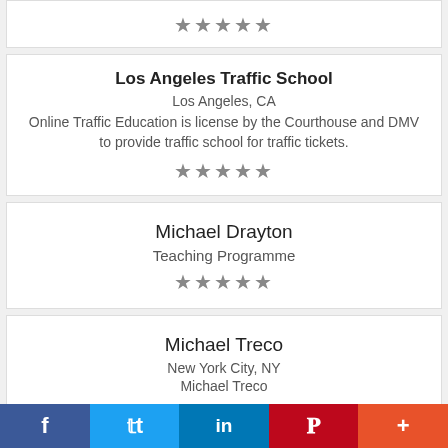[Figure (other): Star rating row (5 stars) for a partially visible card at top]
Los Angeles Traffic School
Los Angeles, CA
Online Traffic Education is license by the Courthouse and DMV to provide traffic school for traffic tickets.
[Figure (other): Star rating row (5 stars) for Los Angeles Traffic School]
Michael Drayton
Teaching Programme
[Figure (other): Star rating row (5 stars) for Michael Drayton]
Michael Treco
New York City, NY
Michael Treco
f  t  in  P  +